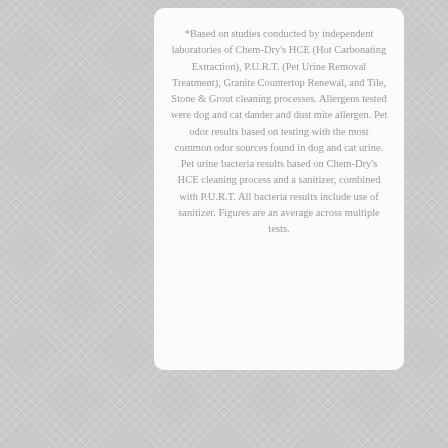*Based on studies conducted by independent laboratories of Chem-Dry's HCE (Hot Carbonating Extraction), P.U.R.T. (Pet Urine Removal Treatment), Granite Countertop Renewal, and Tile, Stone & Grout cleaning processes. Allergens tested were dog and cat dander and dust mite allergen. Pet odor results based on testing with the most common odor sources found in dog and cat urine. Pet urine bacteria results based on Chem-Dry's HCE cleaning process and a sanitizer, combined with P.U.R.T. All bacteria results include use of sanitizer. Figures are an average across multiple tests.